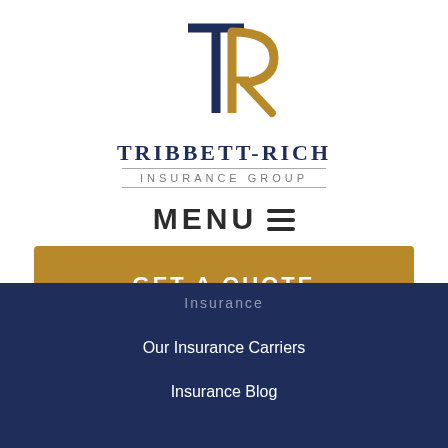[Figure (logo): Tribbett-Rich Insurance Group logo — stylized TR monogram with gold and navy coloring, T in front, R overlapping]
TRIBBETT-RICH
INSURANCE GROUP
MENU ☰
GET A QUOTE
Insurance
Our Insurance Carriers
Insurance Blog